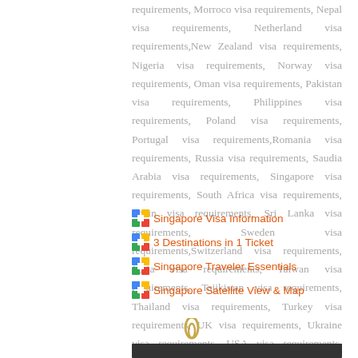requirements, Morroco visa requirements, Nepal visa requirements, Netherland visa requirements,New Zealand visa requirements, Nigeria visa requirements, Norway visa requirements, Oman visa requirements, Pakistan visa requirements, Philippines visa requirements, Poland visa requirements, Portugal visa requirements,Romania visa requirements, Russia visa requirements, Saudia Arabia visa requirements, Singapore visa requirements, South Africa visa requirements, Spain visa requirements, Sri Lanka visa requirements, Sweden visa requirements,Switzerland visa requirements, Syria visa requirements, Taiwan visa requirements, Tajikistan visa requirements, Thailand visa requirements, Turkey visa requirements, UK visa requirements, Ukraine visa requirements, USA visa requirements, Uzbekistan visa requirements,
Singapore Visa Information
3 Destinations in 1 Ticket
Singapore Traveler Essentials
Singapore Satellite View & Map
[Figure (other): Paperclip and partial image at bottom of page]